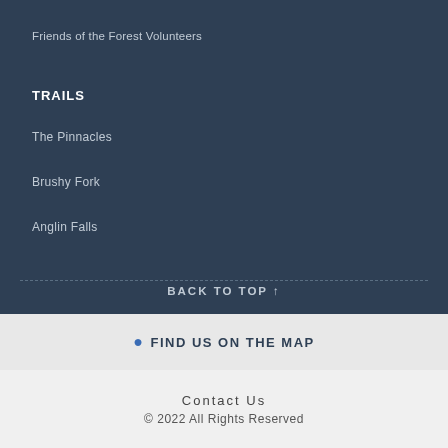Friends of the Forest Volunteers
TRAILS
The Pinnacles
Brushy Fork
Anglin Falls
BACK TO TOP ↑
FIND US ON THE MAP
Contact Us
© 2022 All Rights Reserved